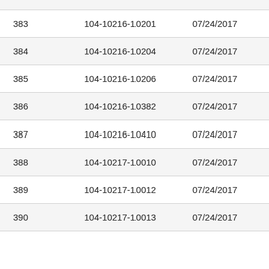|  |  |  |  |
| --- | --- | --- | --- |
| 383 | 104-10216-10201 | 07/24/2017 | In |
| 384 | 104-10216-10204 | 07/24/2017 | In |
| 385 | 104-10216-10206 | 07/24/2017 | In |
| 386 | 104-10216-10382 | 07/24/2017 | In |
| 387 | 104-10216-10410 | 07/24/2017 | In |
| 388 | 104-10217-10010 | 07/24/2017 | In |
| 389 | 104-10217-10012 | 07/24/2017 | In |
| 390 | 104-10217-10013 | 07/24/2017 | In |